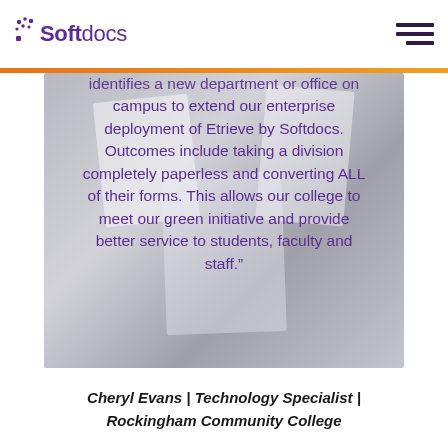Softdocs
identifies a new department or office on campus to extend our enterprise deployment of Etrieve by Softdocs. Outcomes include taking a division completely paperless and converting ALL of their forms. This allows our college to meet our green initiative and provide better service to students, faculty and staff.”
Cheryl Evans | Technology Specialist | Rockingham Community College